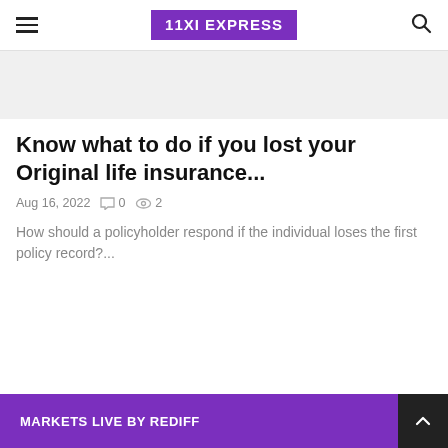11XI EXPRESS
[Figure (other): Gray banner/advertisement area]
Know what to do if you lost your Original life insurance...
Aug 16, 2022  0  2
How should a policyholder respond if the individual loses the first policy record?...
MARKETS LIVE BY REDIFF